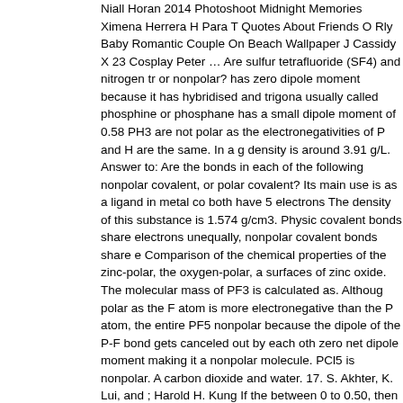Niall Horan 2014 Photoshoot Midnight Memories Ximena Herrera H Para T... Quotes About Friends O Rly Baby Romantic Couple On Beach Wallpaper J... Cassidy X 23 Cosplay Peter … Are sulfur tetrafluoride (SF4) and nitrogen tr... or nonpolar? has zero dipole moment because it has hybridised and trigona... usually called phosphine or phosphane has a small dipole moment of 0.58... PH3 are not polar as the electronegativities of P and H are the same. In a g... density is around 3.91 g/L. Answer to: Are the bonds in each of the following... nonpolar covalent, or polar covalent? Its main use is as a ligand in metal co... both have 5 electrons The density of this substance is 1.574 g/cm3. Physic... covalent bonds share electrons unequally, nonpolar covalent bonds share e... Comparison of the chemical properties of the zinc-polar, the oxygen-polar, a... surfaces of zinc oxide. The molecular mass of PF3 is calculated as. Althoug... polar as the F atom is more electronegative than the P atom, the entire PF5... nonpolar because the dipole of the P-F bond gets canceled out by each oth... zero net dipole moment making it a nonpolar molecule. PCl5 is nonpolar. A... carbon dioxide and water. 17. S. Akhter, K. Lui, and ; Harold H. Kung If the... between 0 to 0.50, then it will be non-polar. 5) silicon dioxide OR carbon dio... electrons of Phosphorus are 5 and fluorine has 7 valence electrons in its ou... polar or nonpolar, Question = Is Br2 polar or nonpolar ? Is this molecule pla... chlorine is nonpolar. But, as the difference is more than 0.5, PCL3 is polar... and water do not mix because water is polar whereas oil is nonpolar. Visit &... Results Now On celebrandoleonardo500.com! 6) methane OR CH2Cl2 ; Ma... solvents, such as turpentine, are able to dissolve non-polar substances. 4)... phosphorus trichloride. Determine if phosphorus tribromide is polar, nonpol... Chemical Vendors. Polar molecules must contain polar bonds due to a diffe... electronegativity between the bonded atoms. The physical properties of a s... in part by whether or not a molecule is polar. PCL3 Hybridization. As a ligan... monoxide in metal carbonyls, and indeed its toxicity is due to its binding wit... hemoglobin in a similar way to carbon monoxide. So, the end difference is 0... significant. Consider this balanced equation: NH.NO à N + 2 H2O At a temp... of the products of this reaction are gases. OR ammonia. polar? Answer = C... (Dichlorodifluoromethane) is Polar What is polar and non-polar?